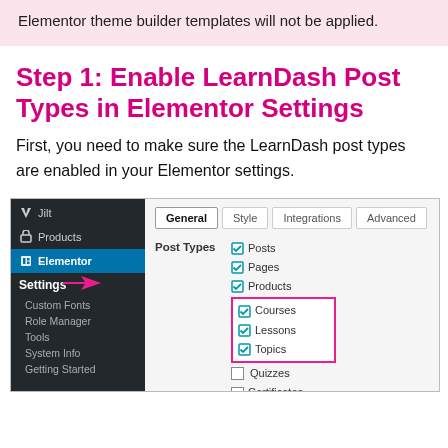Elementor theme builder templates will not be applied.
Step 1: Enable LearnDash Post Types in Elementor Settings
First, you need to make sure the LearnDash post types are enabled in your Elementor settings.
[Figure (screenshot): Screenshot of WordPress admin sidebar showing Elementor > Settings selected, with an arrow pointing to 'Settings'. The main panel shows the Elementor Settings page with tabs General, Style, Integrations, Advanced. Under Post Types, checkboxes show Posts, Pages, Products checked (standard), and a pink-bordered box highlights Courses, Lessons, Topics as checked. Quizzes, Certificates, Transactions, Submitted Essays are unchecked.]